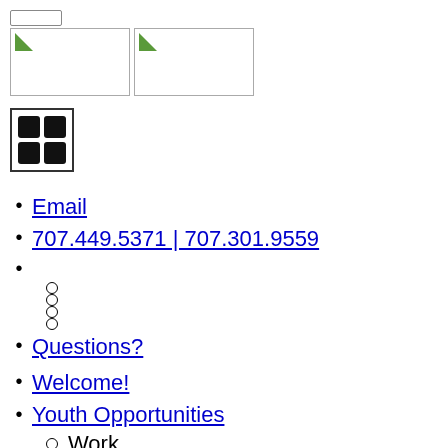[Figure (screenshot): Navigation bar UI element - a small rectangular input/search bar]
[Figure (screenshot): Two image placeholder boxes side by side with green arrow icons]
[Figure (other): 2x2 grid icon with four black squares]
Email
707.449.5371 | 707.301.9559
(empty bullet with 4 sub-items)
Questions?
Welcome!
Youth Opportunities
Work
Part-Time
Full-Time
Internships
Volunteer